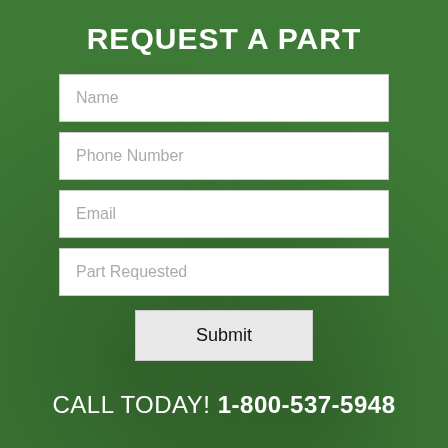REQUEST A PART
[Figure (screenshot): A web form with four input fields (Name, Phone Number, Email, Part Requested) and a Submit button on a green background]
CALL TODAY! 1-800-537-5948